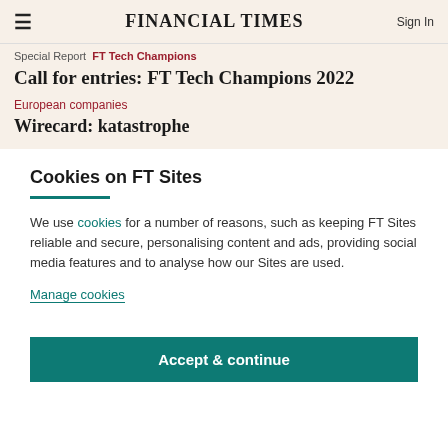FINANCIAL TIMES | Sign In
Special Report · FT Tech Champions
Call for entries: FT Tech Champions 2022
European companies
Wirecard: katastrophe
Cookies on FT Sites
We use cookies for a number of reasons, such as keeping FT Sites reliable and secure, personalising content and ads, providing social media features and to analyse how our Sites are used.
Manage cookies
Accept & continue